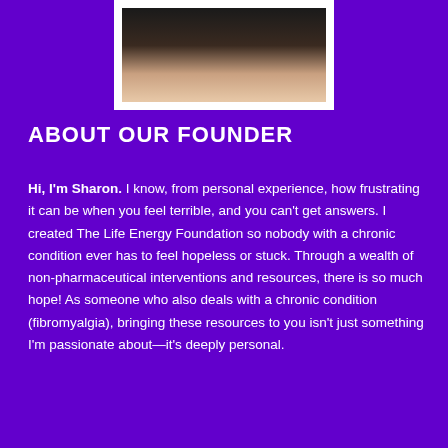[Figure (photo): Partial photo of a woman with long dark hair, wearing a white top, shown from the shoulders up, in a white-bordered frame against a purple background.]
ABOUT OUR FOUNDER
Hi, I'm Sharon. I know, from personal experience, how frustrating it can be when you feel terrible, and you can't get answers. I created The Life Energy Foundation so nobody with a chronic condition ever has to feel hopeless or stuck. Through a wealth of non-pharmaceutical interventions and resources, there is so much hope! As someone who also deals with a chronic condition (fibromyalgia), bringing these resources to you isn't just something I'm passionate about—it's deeply personal.